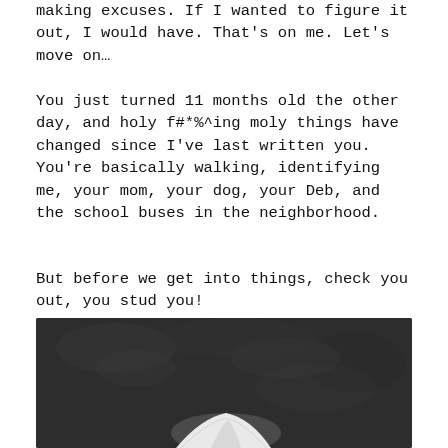making excuses. If I wanted to figure it out, I would have. That's on me. Let's move on…
You just turned 11 months old the other day, and holy f#*%^ing moly things have changed since I've last written you. You're basically walking, identifying me, your mom, your dog, your Deb, and the school buses in the neighborhood.
But before we get into things, check you out, you stud you!
[Figure (photo): Dark background photo showing a baby or young child partially visible at the bottom, wearing a white garment, against a dark textured wall]